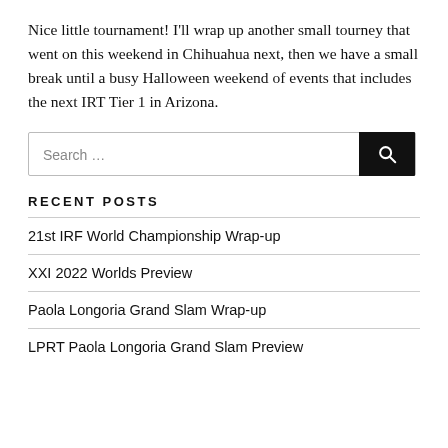Nice little tournament! I'll wrap up another small tourney that went on this weekend in Chihuahua next, then we have a small break until a busy Halloween weekend of events that includes the next IRT Tier 1 in Arizona.
[Figure (other): Search bar with text input labeled 'Search …' and a dark search button with a magnifying glass icon]
RECENT POSTS
21st IRF World Championship Wrap-up
XXI 2022 Worlds Preview
Paola Longoria Grand Slam Wrap-up
LPRT Paola Longoria Grand Slam Preview